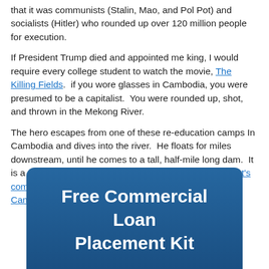that it was communists (Stalin, Mao, and Pol Pot) and socialists (Hitler) who rounded up over 120 million people for execution.

If President Trump died and appointed me king, I would require every college student to watch the movie, The Killing Fields.  if you wore glasses in Cambodia, you were presumed to be a capitalist.  You were rounded up, shot, and thrown in the Mekong River.

The hero escapes from one of these re-education camps In Cambodia and dives into the river.  He floats for miles downstream, until he comes to a tall, half-mile long dam.  It is a stack of 600,000 bodies, eighty bodies high.  Pol Pot's communists killed 1.5 million to 2 million educated Cambodians.  All hail socialism.
[Figure (other): Blue rounded banner button with white bold text reading 'Free Commercial Loan Placement Kit']